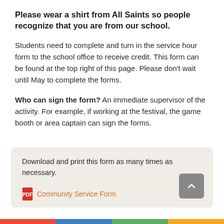Please wear a shirt from All Saints so people recognize that you are from our school.
Students need to complete and turn in the service hour form to the school office to receive credit. This form can be found at the top right of this page. Please don’t wait until May to complete the forms.
Who can sign the form? An immediate supervisor of the activity. For example, if working at the festival, the game booth or area captain can sign the forms.
Download and print this form as many times as necessary.
Community Service Form